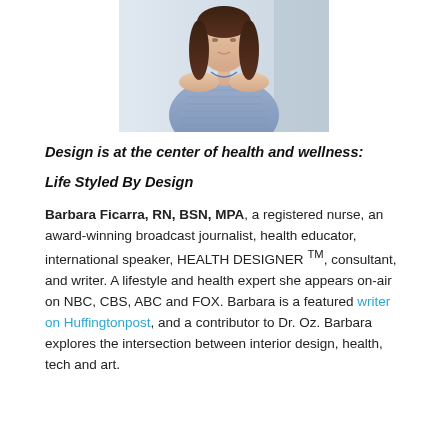[Figure (photo): Photo of Barbara Ficarra wearing a blue dress, cropped to show shoulders and torso, taken in what appears to be a light interior setting.]
Design is at the center of health and wellness:
Life Styled By Design
Barbara Ficarra, RN, BSN, MPA, a registered nurse, an award-winning broadcast journalist, health educator, international speaker, HEALTH DESIGNER ™, consultant, and writer. A lifestyle and health expert she appears on-air on NBC, CBS, ABC and FOX. Barbara is a featured writer on Huffingtonpost, and a contributor to Dr. Oz. Barbara explores the intersection between interior design, health, tech and art.